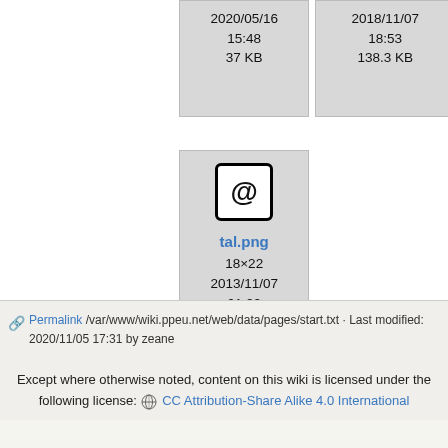[Figure (screenshot): File thumbnail card: 2020/05/16 15:48, 37 KB]
[Figure (screenshot): File thumbnail card: 2018/11/07 18:53, 138.3 KB]
[Figure (screenshot): File thumbnail card for tal.png with @ icon, 18x22, 2013/11/07 01:22, 699 B]
Permalink /var/www/wiki.ppeu.net/web/data/pages/start.txt · Last modified: 2020/11/05 17:31 by zeane
Except where otherwise noted, content on this wiki is licensed under the following license: CC Attribution-Share Alike 4.0 International